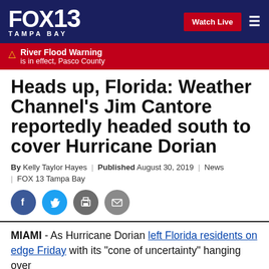FOX 13 TAMPA BAY | Watch Live
River Flood Warning is in effect, Pasco County
Heads up, Florida: Weather Channel's Jim Cantore reportedly headed south to cover Hurricane Dorian
By Kelly Taylor Hayes | Published August 30, 2019 | News | FOX 13 Tampa Bay
[Figure (other): Social sharing icons: Facebook, Twitter, Print, Email]
MIAMI - As Hurricane Dorian left Florida residents on edge Friday with its "cone of uncertainty" hanging over